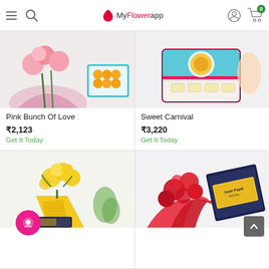MyFlowerapp
[Figure (photo): Pink rose bouquet with box of sweets (laddoos) - Pink Bunch Of Love product]
Pink Bunch Of Love
₹2,123
Get It Today
[Figure (photo): Decorative sweet box with barfi/kaju katli sweets - Sweet Carnival product]
Sweet Carnival
₹3,220
Get It Today
[Figure (photo): Yellow rose bouquet wrapped in yellow paper with candle gift box]
[Figure (photo): Red rose bouquet with Soan Papdi sweet box]